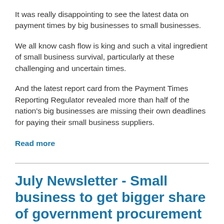It was really disappointing to see the latest data on payment times by big businesses to small businesses.
We all know cash flow is king and such a vital ingredient of small business survival, particularly at these challenging and uncertain times.
And the latest report card from the Payment Times Reporting Regulator revealed more than half of the nation's big businesses are missing their own deadlines for paying their small business suppliers.
Read more
July Newsletter - Small business to get bigger share of government procurement